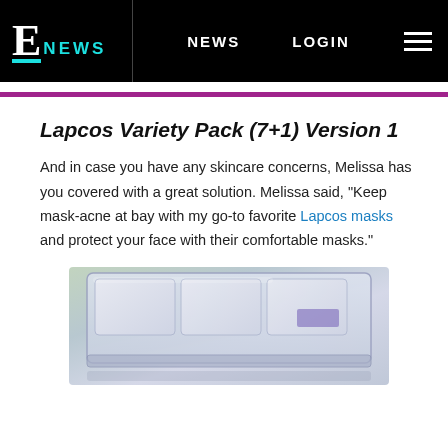E! NEWS   NEWS   LOGIN
Lapcos Variety Pack (7+1) Version 1
And in case you have any skincare concerns, Melissa has you covered with a great solution. Melissa said, "Keep mask-acne at bay with my go-to favorite Lapcos masks and protect your face with their comfortable masks."
[Figure (photo): Product photo of Lapcos Variety Pack masks in a clear plastic zip bag, showing packaged sheet masks]